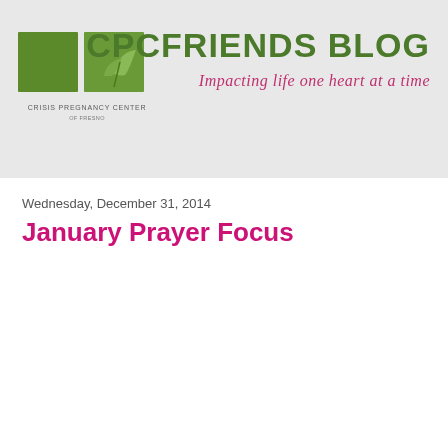[Figure (logo): Crisis Pregnancy Center logo: two green squares with a leaf/plant graphic and text 'CRISIS PREGNANCY CENTER' below]
CPCFRIENDS BLOG
Impacting life one heart at a time
Wednesday, December 31, 2014
January Prayer Focus